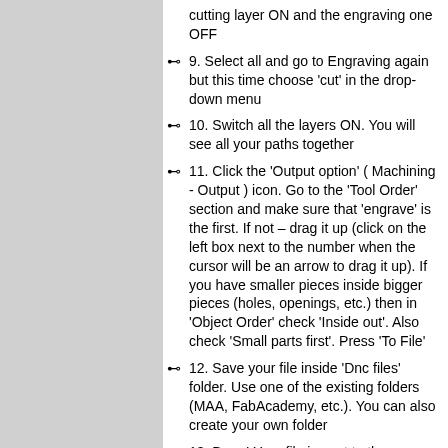cutting layer ON and the engraving one OFF
9. Select all and go to Engraving again but this time choose 'cut' in the drop-down menu
10. Switch all the layers ON. You will see all your paths together
11. Click the 'Output option' ( Machining - Output ) icon. Go to the 'Tool Order' section and make sure that 'engrave' is the first. If not – drag it up (click on the left box next to the number when the cursor will be an arrow to drag it up). If you have smaller pieces inside bigger pieces (holes, openings, etc.) then in 'Object Order' check 'Inside out'. Also check 'Small parts first'. Press 'To File'
12. Save your file inside 'Dnc files' folder. Use one of the existing folders (MAA, FabAcademy, etc.). You can also create your own folder
13. Done! Your file is sent to the